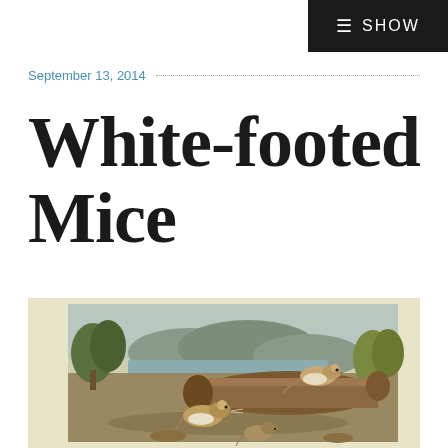SHOW
September 13, 2014
White-footed Mice
[Figure (illustration): Vintage natural history illustration of white-footed mice near a log, with a landscape background featuring trees, hills, and a river.]